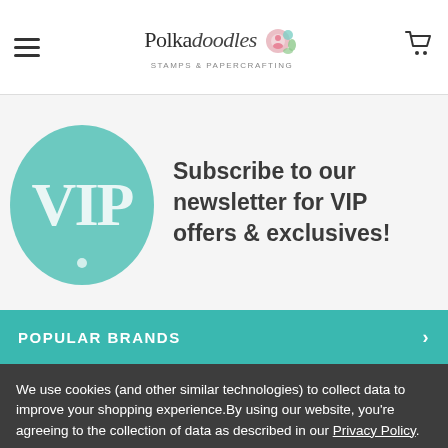Polkadoodles Stamps & Papercrafting — navigation header with hamburger menu and cart icon
[Figure (illustration): VIP badge — teal/mint circle with the letters VIP in white serif font, with a small dot below]
Subscribe to our newsletter for VIP offers & exclusives!
POPULAR BRANDS
We use cookies (and other similar technologies) to collect data to improve your shopping experience.By using our website, you're agreeing to the collection of data as described in our Privacy Policy.
Settings
Reject all
Accept All Cookies